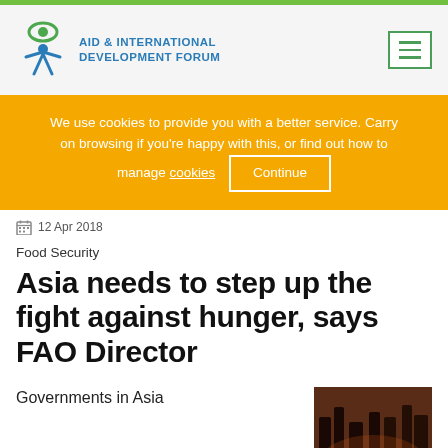[Figure (logo): Aid & International Development Forum logo with eye/person icon in green and blue]
We use cookies to provide you with a better service. Carry on browsing if you're happy with this, or find out how to manage cookies   Continue
12 Apr 2018
Food Security
Asia needs to step up the fight against hunger, says FAO Director
Governments in Asia